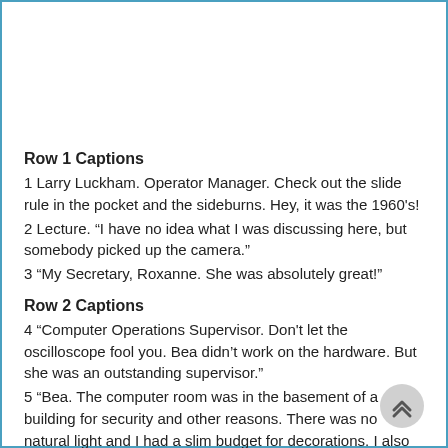Row 1 Captions
1 Larry Luckham. Operator Manager. Check out the slide rule in the pocket and the sideburns. Hey, it was the 1960's!
2 Lecture. “I have no idea what I was discussing here, but somebody picked up the camera.”
3 “My Secretary, Roxanne. She was absolutely great!”
Row 2 Captions
4 “Computer Operations Supervisor. Don't let the oscilloscope fool you. Bea didn’t work on the hardware. But she was an outstanding supervisor.”
5 “Bea. The computer room was in the basement of a building for security and other reasons. There was no natural light and I had a slim budget for decorations. I also had staff with artistic talents so I bought the materials and they made their own decorations.”
6 “Computer Operator. Many names have disappeared from memory after 35 years, but these were an excellent and dedicated